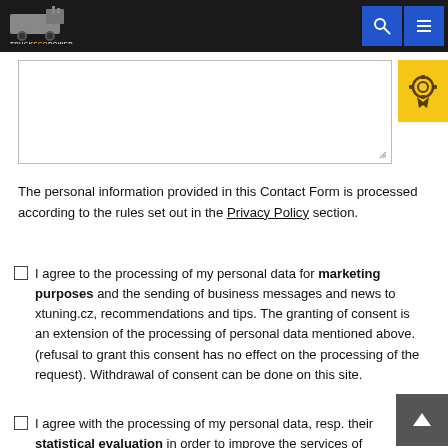TRUCKECPOWER [logo with search and menu icons]
The personal information provided in this Contact Form is processed according to the rules set out in the Privacy Policy section.
I agree to the processing of my personal data for marketing purposes and the sending of business messages and news to xtuning.cz, recommendations and tips. The granting of consent is an extension of the processing of personal data mentioned above. (refusal to grant this consent has no effect on the processing of the request). Withdrawal of consent can be done on this site.
I agree with the processing of my personal data, resp. their statistical evaluation in order to improve the services of